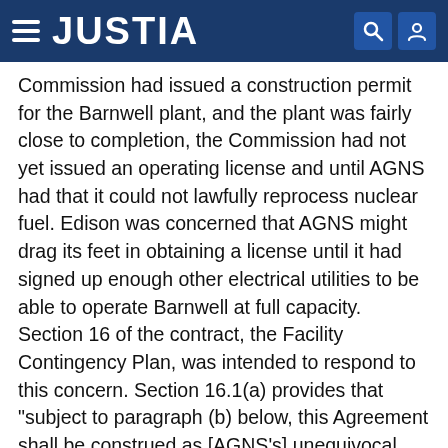JUSTIA
Commission had issued a construction permit for the Barnwell plant, and the plant was fairly close to completion, the Commission had not yet issued an operating license and until AGNS had that it could not lawfully reprocess nuclear fuel. Edison was concerned that AGNS might drag its feet in obtaining a license until it had signed up enough other electrical utilities to be able to operate Barnwell at full capacity. Section 16 of the contract, the Facility Contingency Plan, was intended to respond to this concern. Section 16.1(a) provides that "subject to paragraph (b) below, this Agreement shall be construed as [AGNS's] unequivocal commitment to (1) be ready to process fuel or (2) to have such fuel processed by others by not earlier than one hundred twenty (120) days after any discharge [i.e., removal of spent fuel from the reactor core] and by not later than (i) twelve (12) months after the discharge hereunder or